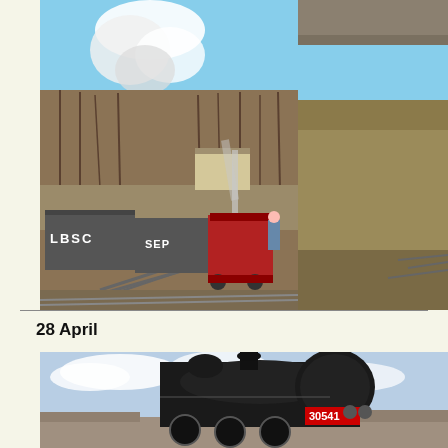[Figure (photo): A red steam locomotive pulling grey freight wagons marked 'LBSC' and 'SEP', with steam billowing upward against a blue sky. Bare winter trees and a station building visible in the background. The train runs on multiple tracks.]
[Figure (photo): Partial view of railway tracks and grassy embankment, right edge of page, cropped.]
28 April
[Figure (photo): A large black steam locomotive numbered 30541 viewed from the front-side angle, with a pale blue cloudy sky behind and rooftops of buildings visible in the lower portion.]